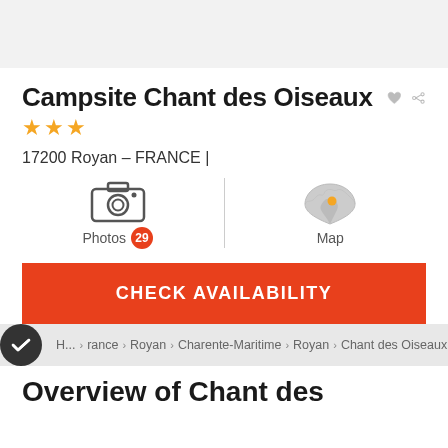Campsite Chant des Oiseaux
[Figure (other): Three gold/yellow star rating icons]
17200 Royan – FRANCE |
[Figure (illustration): Camera icon with Photos label and badge showing 29]
[Figure (map): Small grey map of France with orange location marker dot labeled Map]
CHECK AVAILABILITY
H... rance > Royan > Charente-Maritime > Royan > Chant des Oiseaux
Overview of Chant des